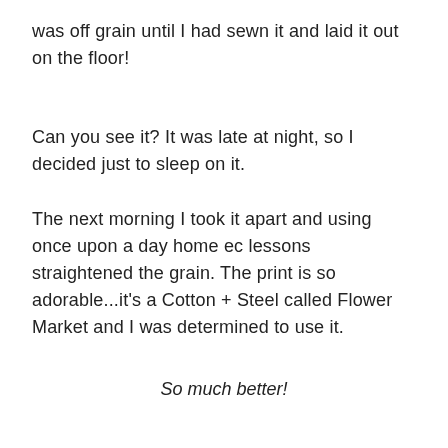was off grain until I had sewn it and laid it out on the floor!
Can you see it? It was late at night, so I decided just to sleep on it.
The next morning I took it apart and using once upon a day home ec lessons straightened the grain. The print is so adorable...it's a Cotton + Steel called Flower Market and I was determined to use it.
So much better!